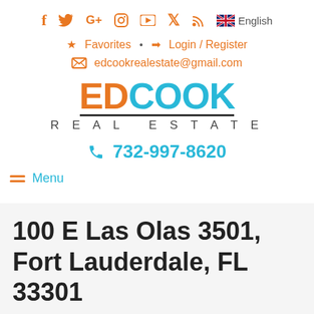[Figure (infographic): Social media icons row: Facebook, Twitter, Google+, Instagram, YouTube, Pinterest, RSS feed icons in orange, followed by UK flag and English text]
Favorites • Login / Register
edcookrealestate@gmail.com
[Figure (logo): Ed Cook Real Estate logo: ED in orange, COOK in blue, with REAL ESTATE below in dark grey spaced letters]
732-997-8620
Menu
100 E Las Olas 3501, Fort Lauderdale, FL 33301